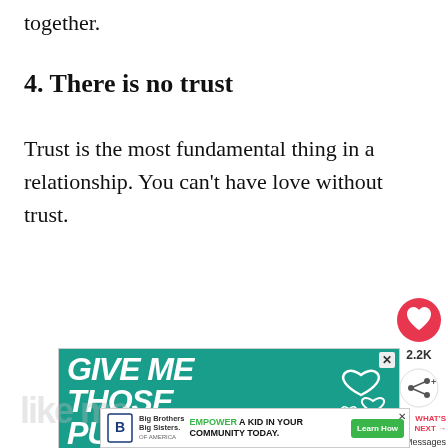together.
4. There is no trust
Trust is the most fundamental thing in a relationship. You can’t have love without trust.
[Figure (screenshot): Advertisement banner with teal background showing text 'GIVE ME THOSE PUPPY' with heart icons and a puppy dog image]
[Figure (screenshot): Bottom banner ad: Big Brothers Big Sisters logo, text 'EMPOWER A KID IN YOUR COMMUNITY TODAY.' with Learn How button]
[Figure (screenshot): Right sidebar with heart/like button, 2.2K count, share button, and 'WHAT'S NEXT' panel showing '8 Messages Guys Send...']